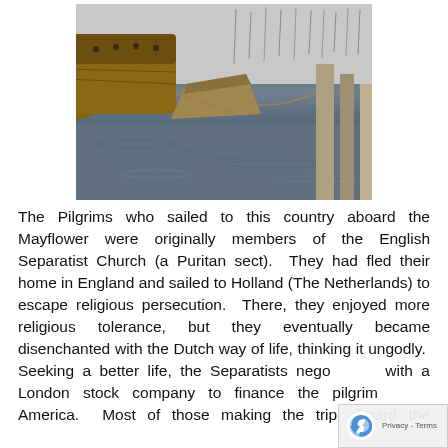[Figure (photo): Historical wooden sailing ships moored at a harbor dock, with water in the foreground and sailboat masts visible in the background. The image shows the hulls of large wooden vessels alongside smaller boats at a pier.]
The Pilgrims who sailed to this country aboard the Mayflower were originally members of the English Separatist Church (a Puritan sect).  They had fled their home in England and sailed to Holland (The Netherlands) to escape religious persecution.  There, they enjoyed more religious tolerance, but they eventually became disenchanted with the Dutch way of life, thinking it ungodly.  Seeking a better life, the Separatists nego with a London stock company to finance the pilgrim America.  Most of those making the trip aboard the Mayflower were non-Separatists, but were hired to protect